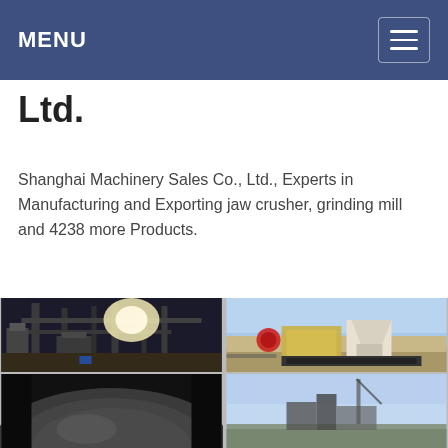MENU
Ltd.
Shanghai Machinery Sales Co., Ltd., Experts in Manufacturing and Exporting jaw crusher, grinding mill and 4238 more Products.
[Figure (photo): Industrial machinery interior with pipes, columns and bright overhead light]
[Figure (photo): Outdoor crusher machinery on construction/mining site with blue sky]
[Figure (photo): Close-up of industrial machinery component, dark metallic surface]
[Figure (photo): Outdoor machinery or construction site with sky in background]